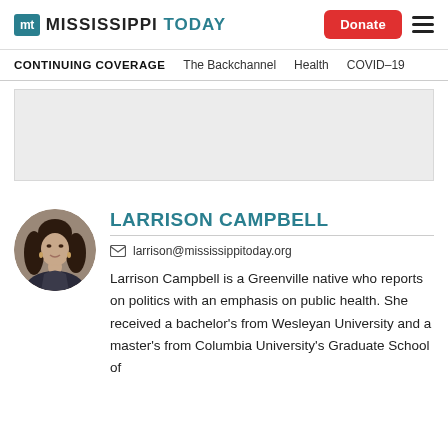Mississippi Today — Donate (button) — hamburger menu
CONTINUING COVERAGE   The Backchannel   Health   COVID-19
[Figure (other): Gray advertisement placeholder block]
[Figure (photo): Circular profile photo of Larrison Campbell, a woman with dark hair, smiling]
LARRISON CAMPBELL
larrison@mississippitoday.org
Larrison Campbell is a Greenville native who reports on politics with an emphasis on public health. She received a bachelor's from Wesleyan University and a master's from Columbia University's Graduate School of